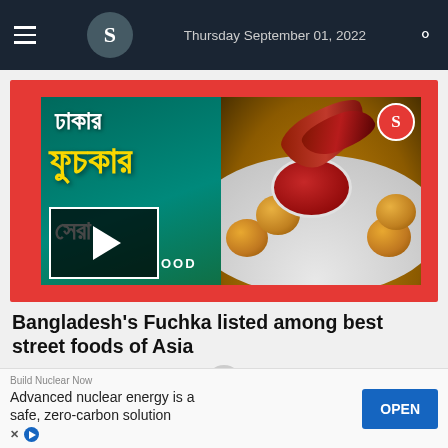Thursday September 01, 2022
[Figure (screenshot): A food video thumbnail showing Bangladeshi Fuchka (street food) with Bengali text reading 'Dhaka's Fuchka – Shera (Best)', fuchka snacks on a plate with a sauce bowl and dried red chillies. A play button is visible at the bottom left, and a red 'B' logo in the top right corner.]
Bangladesh's Fuchka listed among best street foods of Asia
[Figure (screenshot): Advertisement banner: 'Build Nuclear Now – Advanced nuclear energy is a safe, zero-carbon solution' with an OPEN button.]